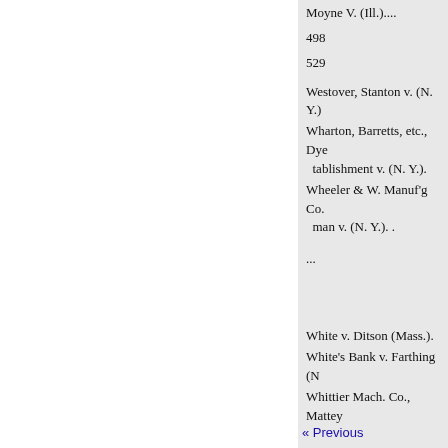Moyne V. (Ill.)....
498
529
Westover, Stanton v. (N. Y.)
Wharton, Barretts, etc., Dye tablishment v. (N. Y.).
Wheeler & W. Manuf'g Co. man v. (N. Y.). .
...
White v. Ditson (Mass.).
White's Bank v. Farthing (N
Whittier Mach. Co., Mattey
« Previous